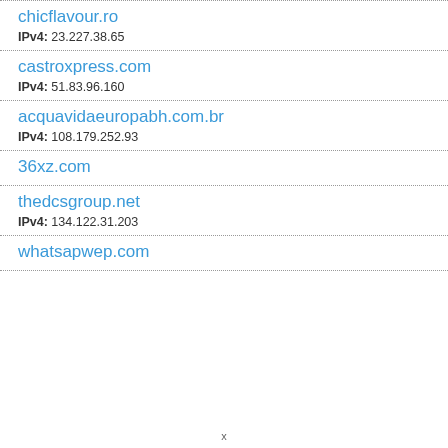chicflavour.ro
IPv4: 23.227.38.65
castroxpress.com
IPv4: 51.83.96.160
acquavidaeuropabh.com.br
IPv4: 108.179.252.93
36xz.com
thedcsgroup.net
IPv4: 134.122.31.203
whatsapwep.com
x